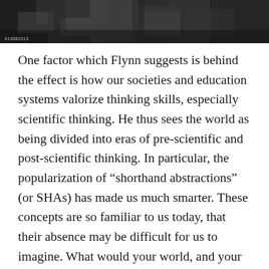[Figure (photo): Black and white photograph showing a close-up scene, appears to be hands or natural elements, with a watermark/label '613082313' in the lower left corner]
One factor which Flynn suggests is behind the effect is how our societies and education systems valorize thinking skills, especially scientific thinking. He thus sees the world as being divided into eras of pre-scientific and post-scientific thinking. In particular, the popularization of “shorthand abstractions” (or SHAs) has made us much smarter. These concepts are so familiar to us today, that their absence may be difficult for us to imagine. What would your world, and your mind, be like without the following constructs? Note how recently in history they have reached popular awareness.